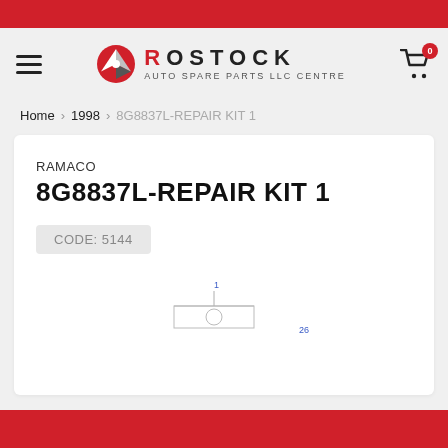[Figure (logo): Rostock Auto Spare Parts LLC Centre logo with red circular icon and brand name]
Home > 1998 > 8G8837L-REPAIR KIT 1
RAMACO
8G8837L-REPAIR KIT 1
CODE: 5144
[Figure (engineering-diagram): Partial engineering/exploded diagram showing numbered parts 1 and 26]